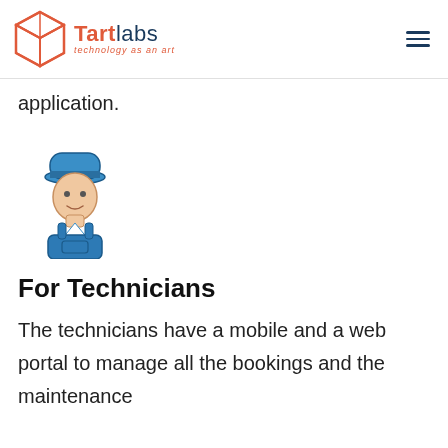Tartlabs — technology as an art
application.
[Figure (illustration): Icon of a technician/worker wearing a blue cap and blue overalls, shown from waist up, with a skin-toned face and dark outline style.]
For Technicians
The technicians have a mobile and a web portal to manage all the bookings and the maintenance